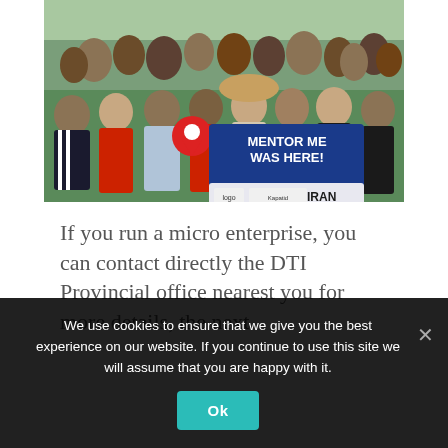[Figure (photo): Group photo of people at a DTI Mentor Me event in Biliran. A group is holding a sign reading 'MENTOR ME WAS HERE! BILIRAN' with a location pin icon and logos. A large crowd is visible in the background.]
If you run a micro enterprise, you can contact directly the DTI Provincial office nearest you for more details, the next
We use cookies to ensure that we give you the best experience on our website. If you continue to use this site we will assume that you are happy with it.